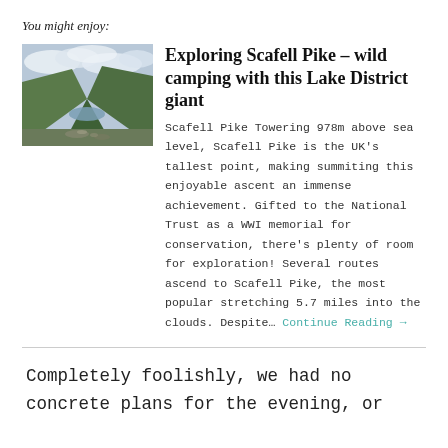You might enjoy:
[Figure (photo): Landscape photo of Scafell Pike area showing a mountain valley with a lake, green hillsides, and cloudy sky]
Exploring Scafell Pike – wild camping with this Lake District giant
Scafell Pike Towering 978m above sea level, Scafell Pike is the UK's tallest point, making summiting this enjoyable ascent an immense achievement. Gifted to the National Trust as a WWI memorial for conservation, there's plenty of room for exploration! Several routes ascend to Scafell Pike, the most popular stretching 5.7 miles into the clouds. Despite… Continue Reading →
Completely foolishly, we had no concrete plans for the evening, or